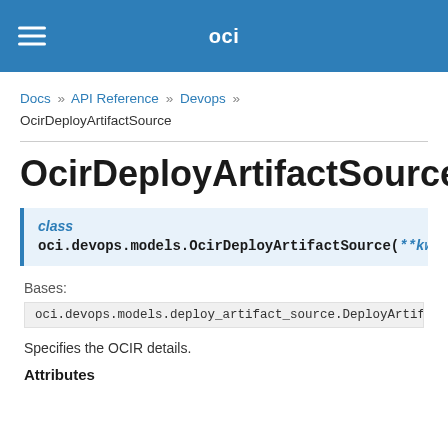oci
Docs » API Reference » Devops » OcirDeployArtifactSource
OcirDeployArtifactSource
class
oci.devops.models.OcirDeployArtifactSource(**kwargs)
Bases:
oci.devops.models.deploy_artifact_source.DeployArtifact
Specifies the OCIR details.
Attributes